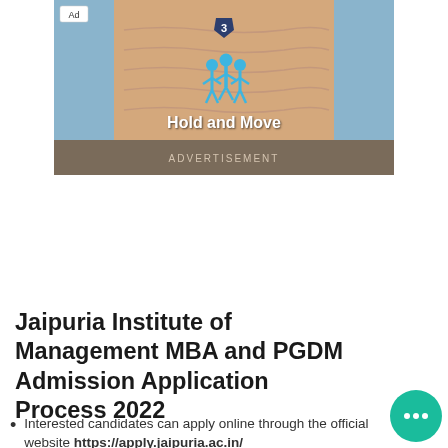[Figure (screenshot): Mobile game advertisement showing a 3D running game scene with blue stick figures on a sandy/wooden track. A shield with number '3' is visible above the figures. Text 'Hold and Move' appears in white bold text. Below is a dark bar with 'ADVERTISEMENT' text. An 'Ad' label is in the top-left corner.]
Jaipuria Institute of Management MBA and PGDM Admission Application Process 2022
Interested candidates can apply online through the official website https://apply.jaipuria.ac.in/